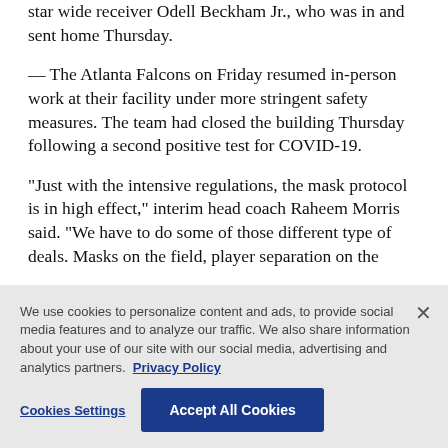star wide receiver Odell Beckham Jr., who was in and sent home Thursday.
— The Atlanta Falcons on Friday resumed in-person work at their facility under more stringent safety measures. The team had closed the building Thursday following a second positive test for COVID-19.
“Just with the intensive regulations, the mask protocol is in high effect,” interim head coach Raheem Morris said. “We have to do some of those different type of deals. Masks on the field, player separation on the
We use cookies to personalize content and ads, to provide social media features and to analyze our traffic. We also share information about your use of our site with our social media, advertising and analytics partners. Privacy Policy
Cookies Settings
Accept All Cookies